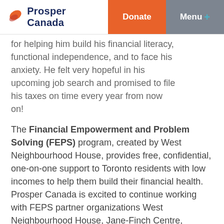Prosper Canada | Donate | Menu +
for helping him build his financial literacy, functional independence, and to face his anxiety. He felt very hopeful in his upcoming job search and promised to file his taxes on time every year from now on!
The Financial Empowerment and Problem Solving (FEPS) program, created by West Neighbourhood House, provides free, confidential, one-on-one support to Toronto residents with low incomes to help them build their financial health. Prosper Canada is excited to continue working with FEPS partner organizations West Neighbourhood House, Jane-Finch Centre, Agincourt Community Services Association, and The